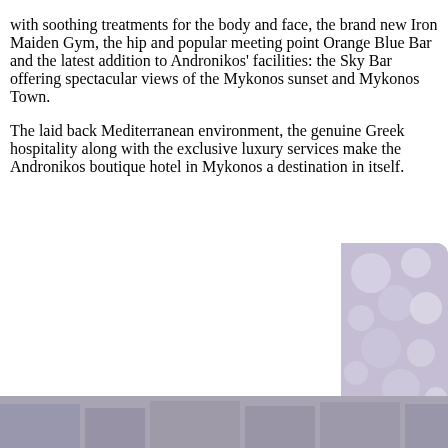with soothing treatments for the body and face, the brand new Iron Maiden Gym, the hip and popular meeting point Orange Blue Bar and the latest addition to Andronikos' facilities: the Sky Bar offering spectacular views of the Mykonos sunset and Mykonos Town.
The laid back Mediterranean environment, the genuine Greek hospitality along with the exclusive luxury services make the Andronikos boutique hotel in Mykonos a destination in itself.
We have placed cookies on your device to help make the website experience better. By using this website, you accept our use of cookies. Learn more about our Cookie Policy Got It!
[Figure (photo): Partial view of a decorative interior photo with circular/bubble light fixtures, visible on the right side of the page behind the cookie overlay]